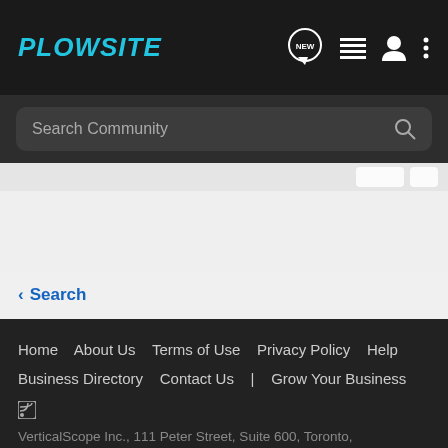PLOWSITE
Search Community
Search
Home   About Us   Terms of Use   Privacy Policy   Help   Business Directory   Contact Us   |   Grow Your Business
VerticalScope Inc., 111 Peter Street, Suite 600, Toronto, Ontario, M5V 2H1, Canada
The Fora platform includes forum software by XenForo